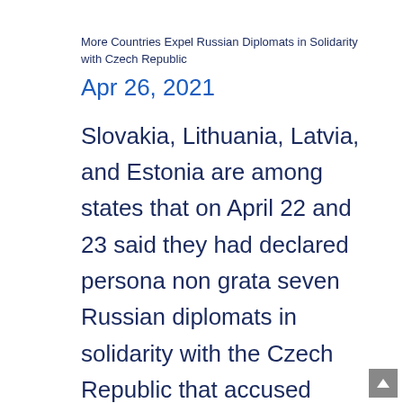More Countries Expel Russian Diplomats in Solidarity with Czech Republic
Apr 26, 2021
Slovakia, Lithuania, Latvia, and Estonia are among states that on April 22 and 23 said they had declared persona non grata seven Russian diplomats in solidarity with the Czech Republic that accused Russian secret services of being behind a fatal explosion at an arms depot in 2014. The…